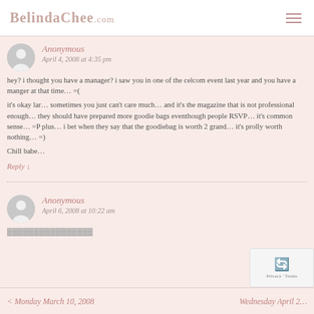BelindaChee.com
Anonymous
April 4, 2008 at 4:35 pm
hey? i thought you have a manager? i saw you in one of the celcom event last year and you have a manger at that time... =(
it's okay lar... sometimes you just can't care much... and it's the magazine that is not professional enough... they should have prepared more goodie bags eventhough people RSVP... it's common sense... =P plus... i bet when they say that the goodiebag is worth 2 grand... it's prolly worth nothing... =)
Chill babe...
Reply ↓
Anonymous
April 6, 2008 at 10:22 am
< Monday March 10, 2008   Wednesday April 2...